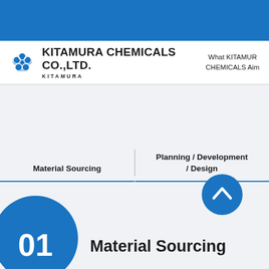[Figure (logo): Blue decorative top banner]
KITAMURA CHEMICALS CO.,LTD.  |  What KITAMURA CHEMICALS Aims
Material Sourcing
Planning / Development / Design
[Figure (illustration): Blue circle scroll-to-top button with upward chevron]
[Figure (illustration): Blue circle badge with number 01]
Material Sourcing